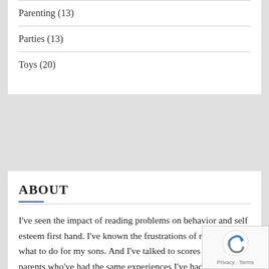Parenting (13)
Parties (13)
Toys (20)
ABOUT
I've seen the impact of reading problems on behavior and self esteem first hand. I've known the frustrations of not knowing what to do for my sons. And I've talked to scores of other parents who've had the same experiences I've had.  Trust your gut! If you're concerned about your child's reading, have him assessed. There are terrific remedial resources available and there are...